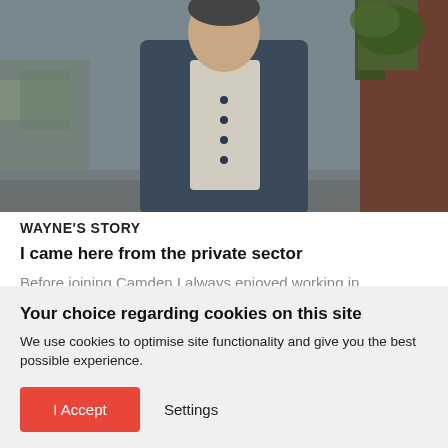[Figure (photo): A man wearing a dark blue jacket standing outdoors with hands in pockets, background shows greenery and wooden planter]
WAYNE'S STORY
I came here from the private sector
Before joining Camden I always enjoyed working in recruitment but pre pandemic the culture was always about being in the office 5 days a week with little
Your choice regarding cookies on this site
We use cookies to optimise site functionality and give you the best possible experience.
I Accept   Settings